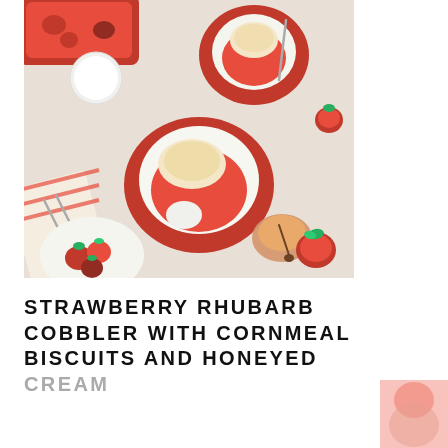[Figure (photo): Overhead view of strawberry rhubarb cobbler served in white bowls on red plates, with cornmeal biscuits on top, strawberries scattered around, a small bowl of honeyed cream, and a striped napkin with forks on a light background.]
STRAWBERRY RHUBARB COBBLER WITH CORNMEAL BISCUITS AND HONEYED CREAM